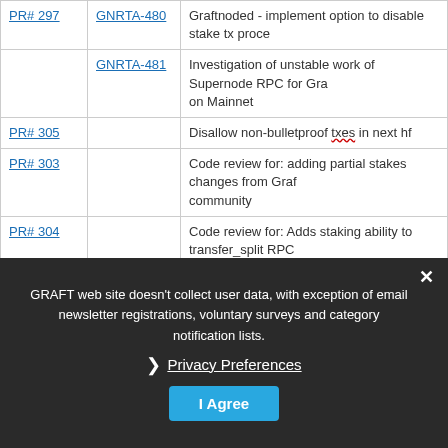|  | Ticket | Description |
| --- | --- | --- |
| PR# 297 | GNRTA-480 | Graftnoded - implement option to disable stake tx process... |
|  | GNRTA-481 | Investigation of unstable work of Supernode RPC for Gra... on Mainnet |
| PR# 305 |  | Disallow non-bulletproof txes in next hf |
| PR# 303 |  | Code review for: adding partial stakes changes from Graf... community |
| PR# 304 |  | Code review for: Adds staking ability to transfer_split RPC... |
| IS# 308 |  | RTA tx version should be 3 |
| IS# 310 |  | Random segfault in graft-supernode, ringdb processing |
GRAFT web site doesn't collect user data, with exception of email newsletter registrations, voluntary surveys and category notification lists.
❯  Privacy Preferences
I Agree